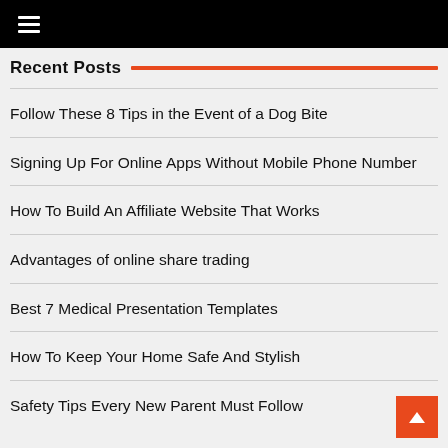≡
Recent Posts
Follow These 8 Tips in the Event of a Dog Bite
Signing Up For Online Apps Without Mobile Phone Number
How To Build An Affiliate Website That Works
Advantages of online share trading
Best 7 Medical Presentation Templates
How To Keep Your Home Safe And Stylish
Safety Tips Every New Parent Must Follow